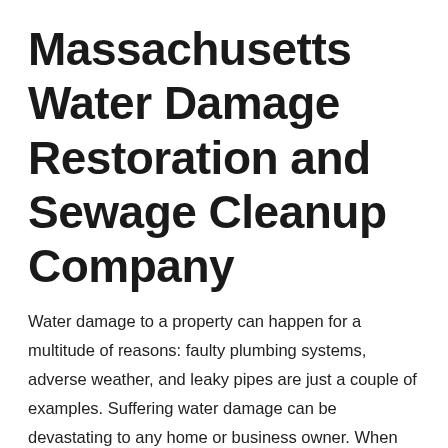Massachusetts Water Damage Restoration and Sewage Cleanup Company
Water damage to a property can happen for a multitude of reasons: faulty plumbing systems, adverse weather, and leaky pipes are just a couple of examples. Suffering water damage can be devastating to any home or business owner. When you have undergone severe damage to your property, you need the help of professionals to restore and rebuild. That is where the Pros come in. The Water Damage Pros of Rockland, Massachusetts have extensive experience in the field of water damage repairs and restoration, and want to help you in your time of